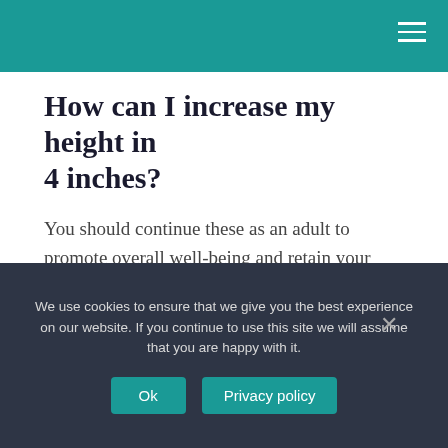How can I increase my height in 4 inches?
You should continue these as an adult to promote overall well-being and retain your height.
1. Eat a balanced diet.
2. Use supplements with caution.
We use cookies to ensure that we give you the best experience on our website. If you continue to use this site we will assume that you are happy with it.